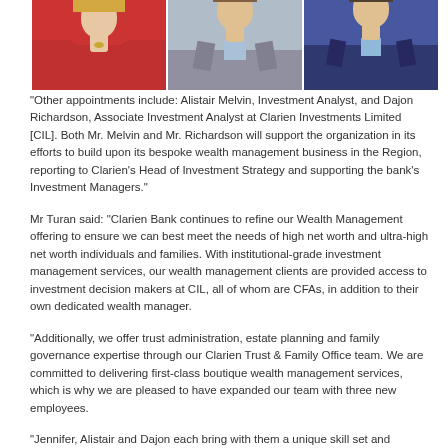[Figure (photo): Three professional headshots side by side: a woman in a red blazer, a man in a gray suit with light blue shirt, and a man in a dark navy suit with light blue shirt]
“Other appointments include: Alistair Melvin, Investment Analyst, and Dajon Richardson, Associate Investment Analyst at Clarien Investments Limited [CIL]. Both Mr. Melvin and Mr. Richardson will support the organization in its efforts to build upon its bespoke wealth management business in the Region, reporting to Clarien’s Head of Investment Strategy and supporting the bank’s Investment Managers.”
Mr Turan said: “Clarien Bank continues to refine our Wealth Management offering to ensure we can best meet the needs of high net worth and ultra-high net worth individuals and families. With institutional-grade investment management services, our wealth management clients are provided access to investment decision makers at CIL, all of whom are CFAs, in addition to their own dedicated wealth manager.
“Additionally, we offer trust administration, estate planning and family governance expertise through our Clarien Trust & Family Office team. We are committed to delivering first-class boutique wealth management services, which is why we are pleased to have expanded our team with three new employees.
“Jennifer, Alistair and Dajon each bring with them a unique skill set and expertise in the financial services industry, and will no doubt be an asset to…